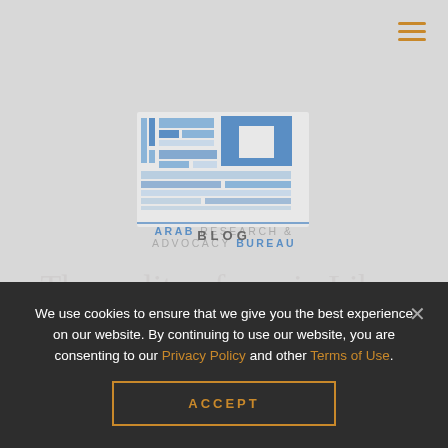[Figure (logo): Arab Research & Advocacy Bureau logo — geometric Arabic calligraphy in blue and grey, with text 'ARAB RESEARCH & ADVOCACY BUREAU' below]
BLOG
The reality of war in Libya
We use cookies to ensure that we give you the best experience on our website. By continuing to use our website, you are consenting to our Privacy Policy and other Terms of Use.
ACCEPT